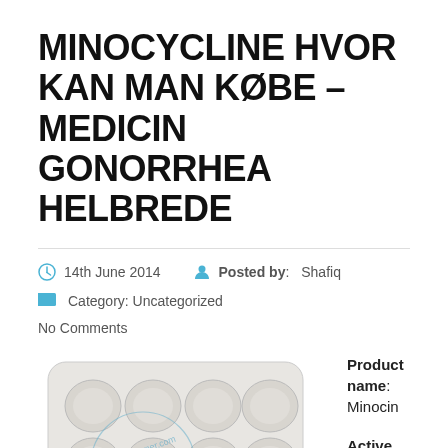MINOCYCLINE HVOR KAN MAN KØBE – MEDICIN GONORRHEA HELBREDE
14th June 2014   Posted by: Shafiq
Category: Uncategorized
No Comments
[Figure (photo): Blister pack of round white/beige tablets, with a blue circular watermark stamp reading 'en-customer.com']
Product name: Minocin

Active ingredient: Minocycline